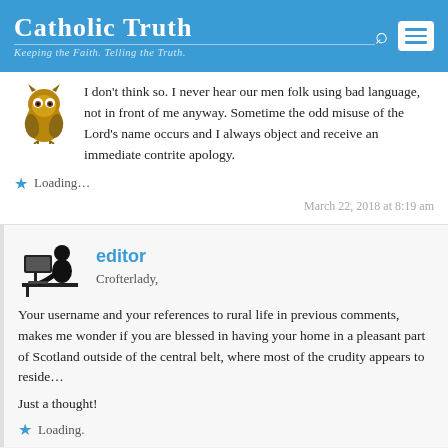Catholic Truth – Keeping the Faith. Telling the Truth.
I don't think so. I never hear our men folk using bad language, not in front of me anyway. Sometime the odd misuse of the Lord's name occurs and I always object and receive an immediate contrite apology.
Loading...
March 22, 2018 at 8:19 am
editor
Crofterlady,
Your username and your references to rural life in previous comments, makes me wonder if you are blessed in having your home in a pleasant part of Scotland outside of the central belt, where most of the crudity appears to reside...
Just a thought!
Loading.